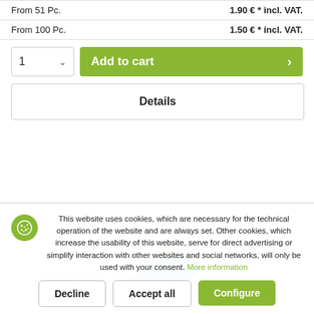| From 51 Pc. | 1.90 € * incl. VAT. |
| From 100 Pc. | 1.50 € * incl. VAT. |
1  Add to cart >
Details
[Figure (photo): Product image showing a blue and green flexible strap or band accessory, partially visible]
This website uses cookies, which are necessary for the technical operation of the website and are always set. Other cookies, which increase the usability of this website, serve for direct advertising or simplify interaction with other websites and social networks, will only be used with your consent. More information
Decline  Accept all  Configure